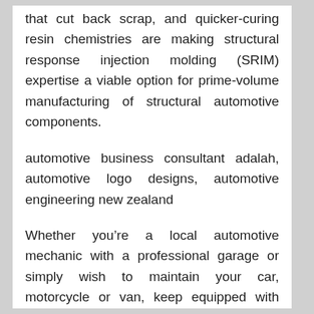that cut back scrap, and quicker-curing resin chemistries are making structural response injection molding (SRIM) expertise a viable option for prime-volume manufacturing of structural automotive components.
automotive business consultant adalah, automotive logo designs, automotive engineering new zealand
Whether you're a local automotive mechanic with a professional garage or simply wish to maintain your car, motorcycle or van, keep equipped with instruments that will final a lifetime by purchasing from our hardwearing automotive device vary. The Unity Asset Store provides you access to the most important